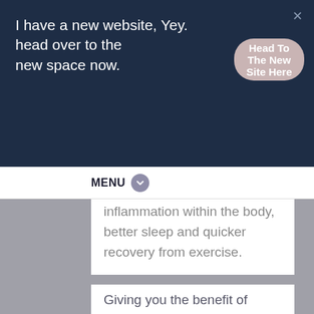I have a new website, Yey. head over to the new space now.
Head To The New Site Here
MENU
inflammation within the body, better sleep and quicker recovery from exercise.
Giving you the benefit of helping the body and the brain to recover more effectively. I particularly like to do this method in the shower after a workout. Though I have to admit it's a lot easier to practice in the summer when it's warm outside, I can't say I practice it as